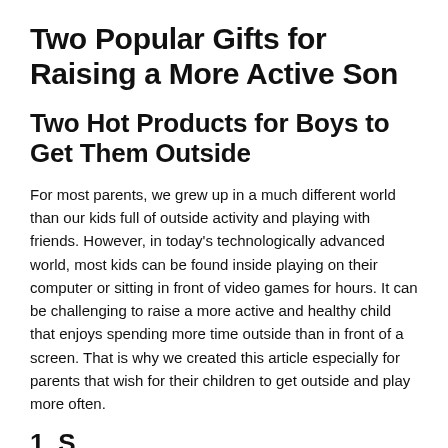Two Popular Gifts for Raising a More Active Son
Two Hot Products for Boys to Get Them Outside
For most parents, we grew up in a much different world than our kids full of outside activity and playing with friends. However, in today's technologically advanced world, most kids can be found inside playing on their computer or sitting in front of video games for hours. It can be challenging to raise a more active and healthy child that enjoys spending more time outside than in front of a screen. That is why we created this article especially for parents that wish for their children to get outside and play more often.
1. S...